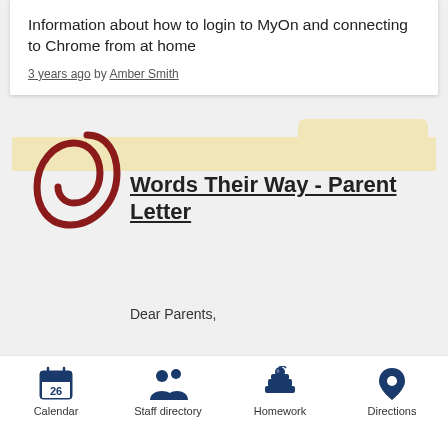Information about how to login to MyOn and connecting to Chrome from at home
3 years ago by Amber Smith
[Figure (illustration): A folder illustration with a dark red paperclip overlaid on it, representing an attached document.]
Words Their Way - Parent Letter
Dear Parents,
[Figure (infographic): Bottom navigation bar with four icons: Calendar (showing 26), Staff directory (two people), Homework (books with apple), Directions (map pin). Labels below each icon.]